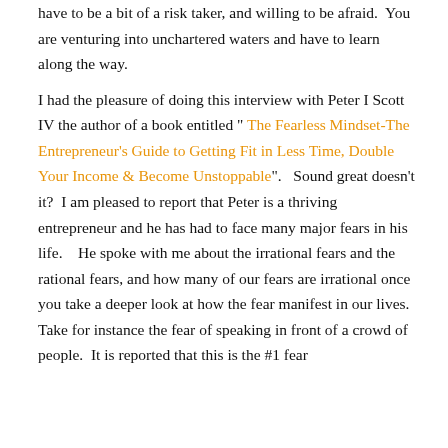have to be a bit of a risk taker, and willing to be afraid. You are venturing into unchartered waters and have to learn along the way.
I had the pleasure of doing this interview with Peter I Scott IV the author of a book entitled "The Fearless Mindset-The Entrepreneur's Guide to Getting Fit in Less Time, Double Your Income & Become Unstoppable".   Sound great doesn't it?  I am pleased to report that Peter is a thriving entrepreneur and he has had to face many major fears in his life.   He spoke with me about the irrational fears and the rational fears, and how many of our fears are irrational once you take a deeper look at how the fear manifest in our lives.  Take for instance the fear of speaking in front of a crowd of people.  It is reported that this is the #1 fear